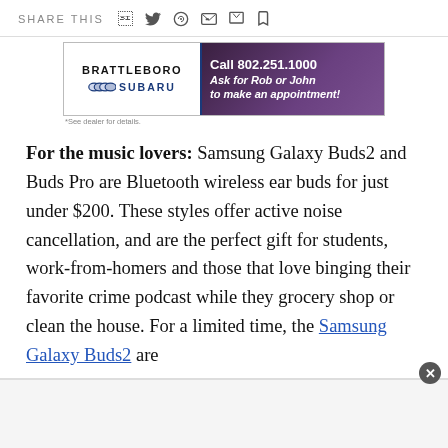SHARE THIS
[Figure (photo): Brattleboro Subaru advertisement banner. Text reads: Call 802.251.1000, Ask for Rob or John to make an appointment! *See dealer for details.]
For the music lovers: Samsung Galaxy Buds2 and Buds Pro are Bluetooth wireless ear buds for just under $200. These styles offer active noise cancellation, and are the perfect gift for students, work-from-homers and those that love binging their favorite crime podcast while they grocery shop or clean the house. For a limited time, the Samsung Galaxy Buds2 are